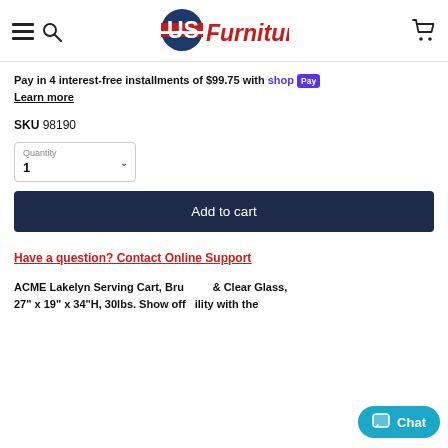[Figure (logo): US Furniture logo with American flag design on letters US, red italic Furniture text]
Pay in 4 interest-free installments of $99.75 with shop Pay
Learn more
SKU 98190
Quantity
1
Add to cart
Have a question? Contact Online Support
ACME Lakelyn Serving Cart, Brushed & Clear Glass, 27" x 19" x 34"H, 30lbs. Show off quality with the